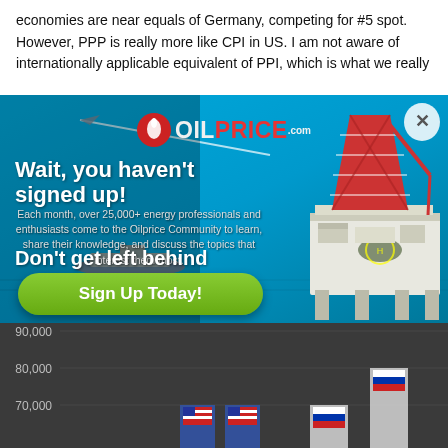economies are near equals of Germany, competing for #5 spot. However, PPP is really more like CPI in US. I am not aware of internationally applicable equivalent of PPI, which is what we really
[Figure (infographic): OilPrice.com advertisement popup modal over a website. Contains OilPrice.com logo (red oil drop icon with OILPRICE text), headline 'Wait, you haven't signed up!', subtext about 25,000+ energy professionals, 'Don't get left behind' text, a green 'Sign Up Today!' button, and an oil rig photograph on the right side with ocean background. Close button (X) in top right.]
[Figure (bar-chart): Partial bar chart visible at bottom of page showing y-axis labels 90,000, 80,000, 70,000 with flag icons (Russian and American flags) visible at the bottom]